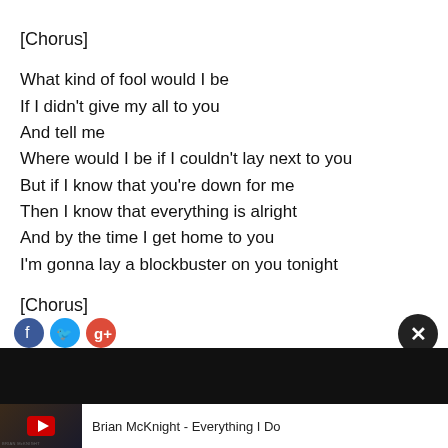[Chorus]
What kind of fool would I be
If I didn't give my all to you
And tell me
Where would I be if I couldn't lay next to you
But if I know that you're down for me
Then I know that everything is alright
And by the time I get home to you
I'm gonna lay a blockbuster on you tonight
[Chorus]
[Figure (screenshot): Bottom UI overlay with social share icons (Facebook blue, Twitter light blue, Google+ red), a black close button with X, a black video player bar, and a YouTube video thumbnail showing Brian McKnight - Everything I Do album art with play button]